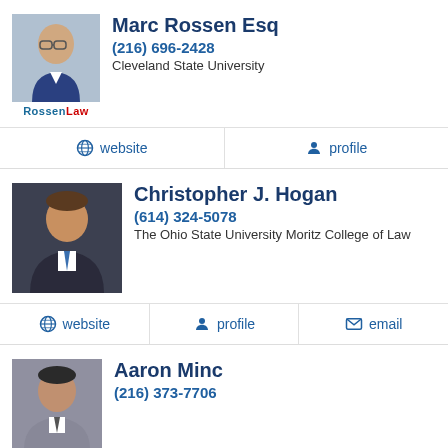Marc Rossen Esq
(216) 696-2428
Cleveland State University
website | profile
Christopher J. Hogan
(614) 324-5078
The Ohio State University Moritz College of Law
website | profile | email
Aaron Minc
(216) 373-7706